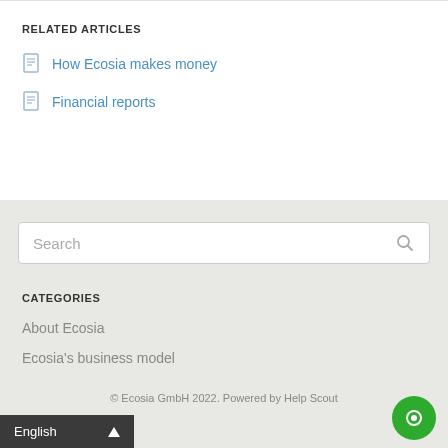RELATED ARTICLES
How Ecosia makes money
Financial reports
Search
CATEGORIES
About Ecosia
Ecosia's business model
© Ecosia GmbH 2022. Powered by Help Scout
English